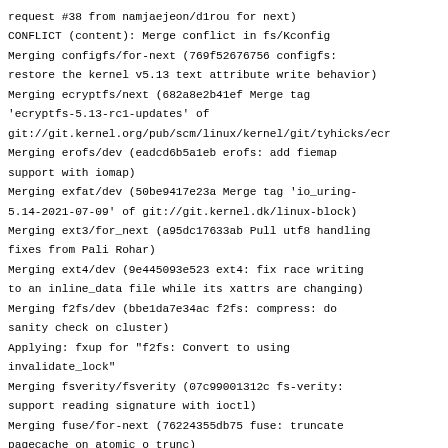request #38 from namjaejeon/d1rou for next)
CONFLICT (content): Merge conflict in fs/Kconfig
Merging configfs/for-next (769f52676756 configfs: restore the kernel v5.13 text attribute write behavior)
Merging ecryptfs/next (682a8e2b41ef Merge tag 'ecryptfs-5.13-rc1-updates' of git://git.kernel.org/pub/scm/linux/kernel/git/tyhicks/ecr
Merging erofs/dev (eadcd6b5a1eb erofs: add fiemap support with iomap)
Merging exfat/dev (50be9417e23a Merge tag 'io_uring-5.14-2021-07-09' of git://git.kernel.dk/linux-block)
Merging ext3/for_next (a95dc17633ab Pull utf8 handling fixes from Pali Rohar)
Merging ext4/dev (9e445093e523 ext4: fix race writing to an inline_data file while its xattrs are changing)
Merging f2fs/dev (bbe1da7e34ac f2fs: compress: do sanity check on cluster)
Applying: fxup for "f2fs: Convert to using invalidate_lock"
Merging fsverity/fsverity (07c99001312c fs-verity: support reading signature with ioctl)
Merging fuse/for-next (76224355db75 fuse: truncate pagecache on atomic_o_trunc)
Merging gfs2/for-next (08d736667185 gfs2: Remove redundant check from gfs2_glock_dq)
Merging jfs/jfs-next (5d299f44d765 jfs: Avoid field-overflowing memcpy())
Merging nfs/linux-next (2734d6c1b1a0 Linux 5.14-rc2)
Merging nfs-anna/linux-next (ca7d1d1a0b97 NFSv4.2: remove restriction of copy size for inter-server copy.)
Merging nfsd/nfsd-next (ab1016d39cc0 nfsd: fix NULL